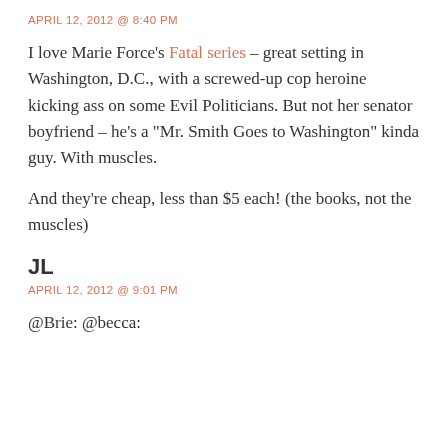APRIL 12, 2012 @ 8:40 PM
I love Marie Force’s Fatal series – great setting in Washington, D.C., with a screwed-up cop heroine kicking ass on some Evil Politicians. But not her senator boyfriend – he’s a “Mr. Smith Goes to Washington” kinda guy. With muscles.
And they’re cheap, less than $5 each! (the books, not the muscles)
JL
APRIL 12, 2012 @ 9:01 PM
@Brie: @becca: